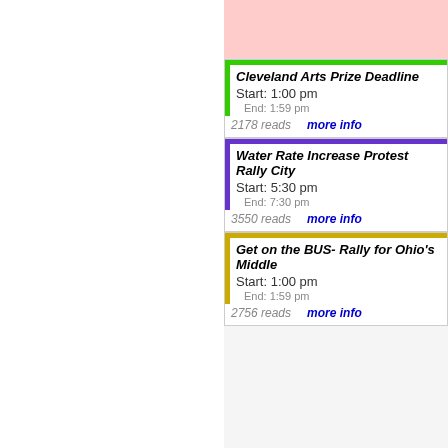Cleveland Arts Prize Deadline
Start: 1:00 pm
End: 1:59 pm
2178 reads  more info
Water Rate Increase Protest Rally City
Start: 5:30 pm
End: 7:30 pm
3550 reads  more info
Get on the BUS- Rally for Ohio's Middle
Start: 1:00 pm
End: 1:59 pm
2756 reads  more info